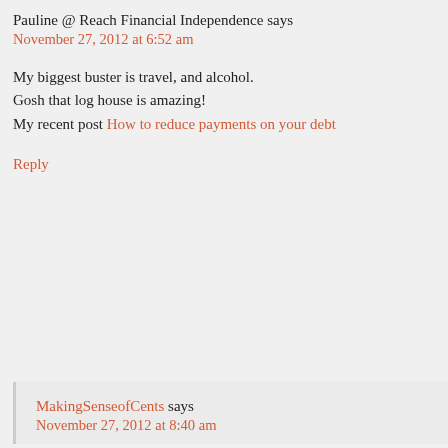Pauline @ Reach Financial Independence says
November 27, 2012 at 6:52 am
My biggest buster is travel, and alcohol. Gosh that log house is amazing! My recent post How to reduce payments on your debt
Reply
MakingSenseofCents says
November 27, 2012 at 8:40 am